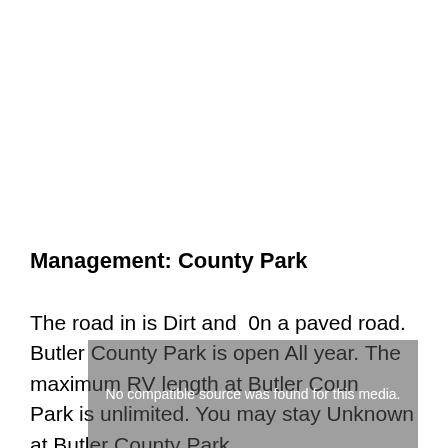Management: County Park
The road in is Dirt and  0n a paved road. Butler County Park is open All year. The maximum RV length at Butler County Park is unlimited. You may stay Unknown at Butler County Park
[Figure (other): Video overlay with message 'No compatible source was found for this media.' with close button and up arrow control]